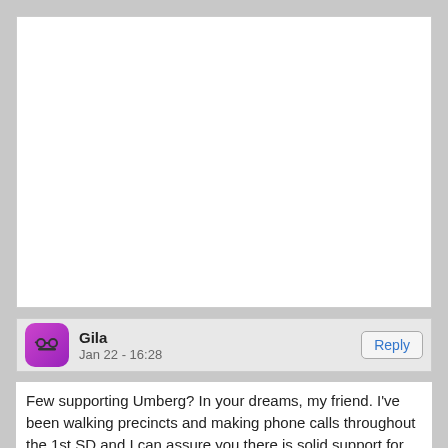[Figure (other): Blank white content area, likely an image placeholder or cropped image region]
Gila
Jan 22 - 16:28
Few supporting Umberg? In your dreams, my friend. I've been walking precincts and making phone calls throughout the 1st SD and I can assure you there is solid support for Umberg.

The GOP mudslingers should watch out. They ran nasty campaigns
Reply